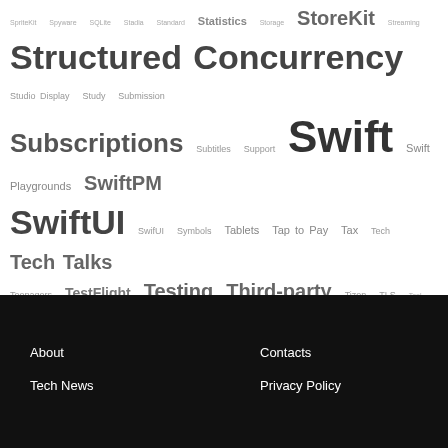SpriteKit Spyware SQLite Stadia Standard Statistics Storage StoreKit Streaming Structured Concurrency Studio Display Study Submission Subscriptions Subtitles Support Swift Swift Playgrounds SwiftPM SwiftUI SwifUI Symbols Tablets Tap to Pay Tax Tech Tech Talks Teenagers TestFlight Testing Third-party Tizen TLS Tool Touch ID Tracking Transfer Treat Trends U1 UAE UI UIKit UltraFusion Ultra Wideband Unit testing Universal Control Unlisted Upgrade US Usage UWB UX Vaccination VAPOR Verdict Vibration Videos Violation Virtualization Virtual Machine Visual VM Voice Assistant VoiceOver VPN VSCode Vulnerability Wallet Watch WatchKit WeatherKit Web WebKit WebRTC Weekend Whitepaper Widgets WiFi Windows Winners Worldwide WWDC WWDC22 Xcode Xcode Cloud XCTest Zero-click Zero-day
About  Contacts  Tech News  Privacy Policy